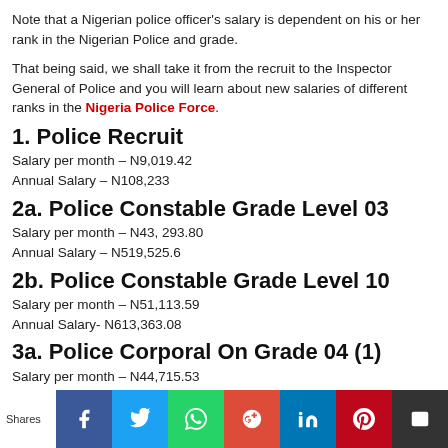Note that a Nigerian police officer's salary is dependent on his or her rank in the Nigerian Police and grade.
That being said, we shall take it from the recruit to the Inspector General of Police and you will learn about new salaries of different ranks in the Nigeria Police Force.
1. Police Recruit
Salary per month – N9,019.42
Annual Salary – N108,233
2a. Police Constable Grade Level 03
Salary per month – N43, 293.80
Annual Salary – N519,525.6
2b. Police Constable Grade Level 10
Salary per month – N51,113.59
Annual Salary- N613,363.08
3a. Police Corporal On Grade 04 (1)
Salary per month – N44,715.53
Annual Salary – N536,586.36